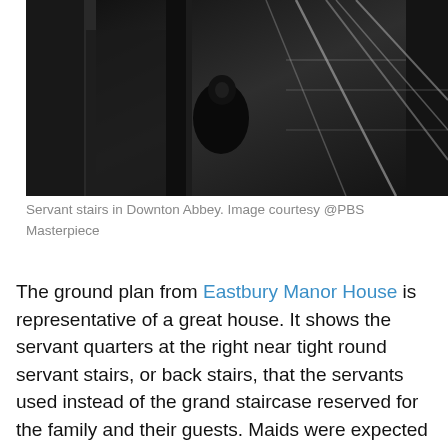[Figure (photo): Dark photograph of servant stairs in Downton Abbey, showing a figure in black clothing visible through a narrow stairwell with walls and structural elements around them.]
Servant stairs in Downton Abbey. Image courtesy @PBS Masterpiece
The ground plan from Eastbury Manor House is representative of a great house. It shows the servant quarters at the right near tight round servant stairs, or back stairs, that the servants used instead of the grand staircase reserved for the family and their guests. Maids were expected to work invisibly and sweep and dust when the family...